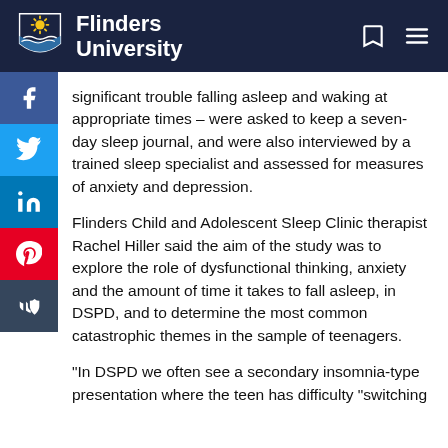Flinders University
significant trouble falling asleep and waking at appropriate times – were asked to keep a seven-day sleep journal, and were also interviewed by a trained sleep specialist and assessed for measures of anxiety and depression.
Flinders Child and Adolescent Sleep Clinic therapist Rachel Hiller said the aim of the study was to explore the role of dysfunctional thinking, anxiety and the amount of time it takes to fall asleep, in DSPD, and to determine the most common catastrophic themes in the sample of teenagers.
"In DSPD we often see a secondary insomnia-type presentation where the teen has difficulty "switching...